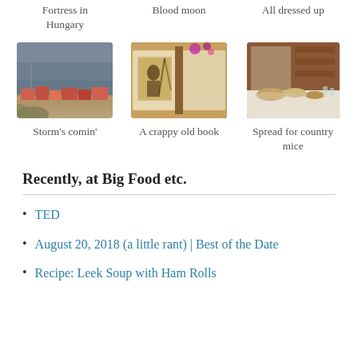Fortress in Hungary
Blood moon
All dressed up
[Figure (photo): Storm's comin' — coastal view with stormy sky, colorful rooftops, sea in background]
Storm's comin'
[Figure (photo): A crappy old book — open book with illustrations, Christmas ornaments in background]
A crappy old book
[Figure (photo): Spread for country mice — rustic indoor table spread with food, wooden shelves]
Spread for country mice
Recently, at Big Food etc.
TED
August 20, 2018 (a little rant) | Best of the Date
Recipe: Leek Soup with Ham Rolls